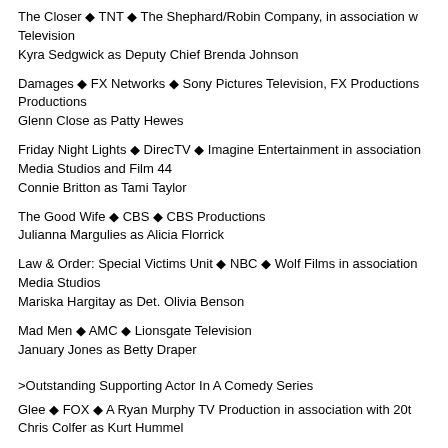The Closer ◆ TNT ◆ The Shephard/Robin Company, in association w Television
Kyra Sedgwick as Deputy Chief Brenda Johnson
Damages ◆ FX Networks ◆ Sony Pictures Television, FX Productions Productions
Glenn Close as Patty Hewes
Friday Night Lights ◆ DirecTV ◆ Imagine Entertainment in association Media Studios and Film 44
Connie Britton as Tami Taylor
The Good Wife ◆ CBS ◆ CBS Productions
Julianna Margulies as Alicia Florrick
Law & Order: Special Victims Unit ◆ NBC ◆ Wolf Films in association Media Studios
Mariska Hargitay as Det. Olivia Benson
Mad Men ◆ AMC ◆ Lionsgate Television
January Jones as Betty Draper
>Outstanding Supporting Actor In A Comedy Series
Glee ◆ FOX ◆ A Ryan Murphy TV Production in association with 20t
Chris Colfer as Kurt Hummel
How I Met Your Mother ◆ CBS ◆ Twentieth Century Fox Television
Neil Patrick Harris as Barney Stinson